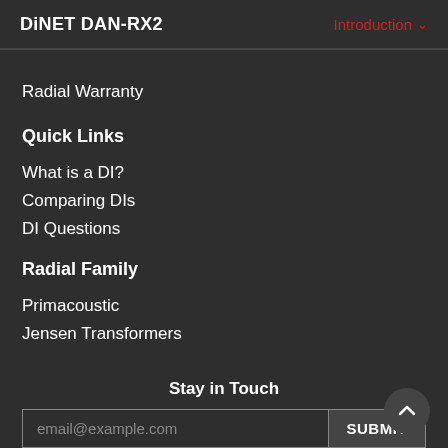DiNET DAN-RX2   Introduction
Radial Warranty
Quick Links
What is a DI?
Comparing DIs
DI Questions
Radial Family
Primacoustic
Jensen Transformers
Stay in Touch
email@example.com   SUBMIT